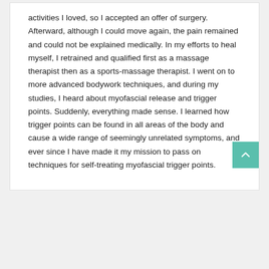activities I loved, so I accepted an offer of surgery. Afterward, although I could move again, the pain remained and could not be explained medically. In my efforts to heal myself, I retrained and qualified first as a massage therapist then as a sports-massage therapist. I went on to more advanced bodywork techniques, and during my studies, I heard about myofascial release and trigger points. Suddenly, everything made sense. I learned how trigger points can be found in all areas of the body and cause a wide range of seemingly unrelated symptoms, and ever since I have made it my mission to pass on techniques for self-treating myofascial trigger points.